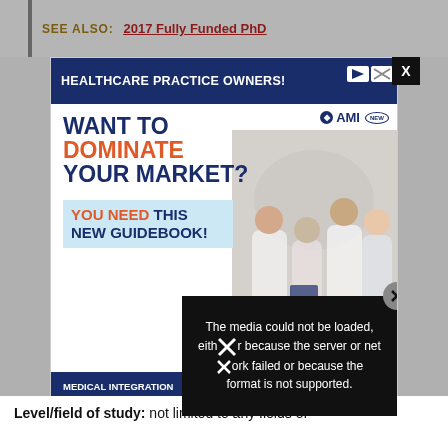SEE ALSO:   2017 Fully Funded PhD
[Figure (screenshot): Advertisement popup for AMI Medical Integration Guidebook 2022 with text 'HEALTHCARE PRACTICE OWNERS!', 'WANT TO DOMINATE YOUR MARKET?', 'YOU NEED THIS NEW GUIDEBOOK!', and a video error message overlay.]
Level/field of study: not limited to any fields of